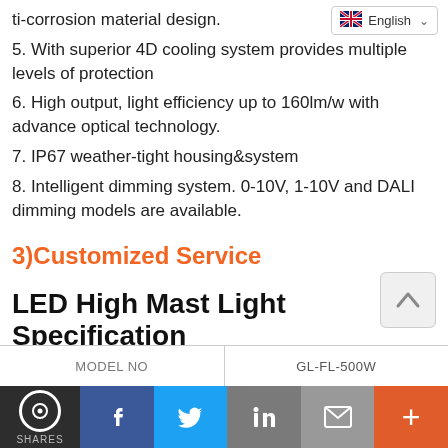[Figure (screenshot): English language selector dropdown with UK flag icon in top right area]
ti-corrosion material design.
5. With superior 4D cooling system provides multiple levels of protection
6. High output, light efficiency up to 160lm/w with advance optical technology.
7. IP67 weather-tight housing&system
8. Intelligent dimming system. 0-10V, 1-10V and DALI dimming models are available.
3)Customized Service
LED High Mast Light Specification
| MODEL NO | GL-FL-500W |
| --- | --- |
[Figure (screenshot): Social sharing bar with chat bubble icon labeled SHARES, then Facebook, Twitter, LinkedIn, email, and plus buttons]